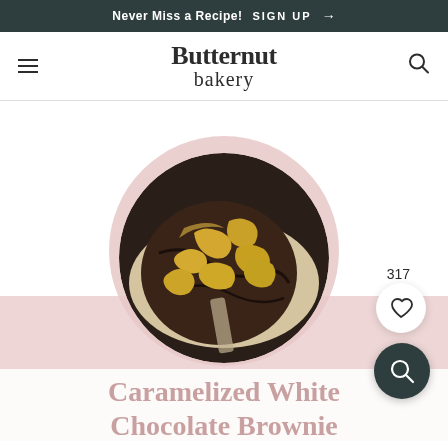Never Miss a Recipe! SIGN UP →
Butternut bakery
[Figure (photo): Circular overhead photo of a caramelized white chocolate brownie on parchment, dark chocolate cake with golden caramelized white chocolate pieces on top, set against a pink circular backdrop with a pink horizontal band]
Caramelized White Chocolate Brownie